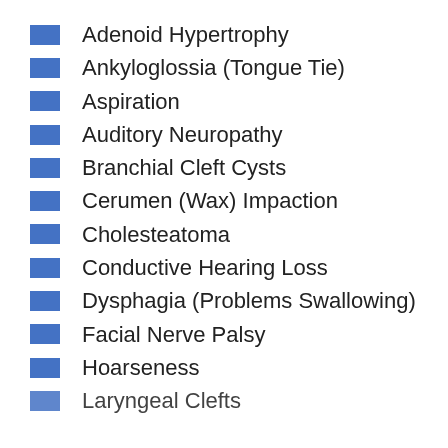Adenoid Hypertrophy
Ankyloglossia (Tongue Tie)
Aspiration
Auditory Neuropathy
Branchial Cleft Cysts
Cerumen (Wax) Impaction
Cholesteatoma
Conductive Hearing Loss
Dysphagia (Problems Swallowing)
Facial Nerve Palsy
Hoarseness
Laryngeal Clefts